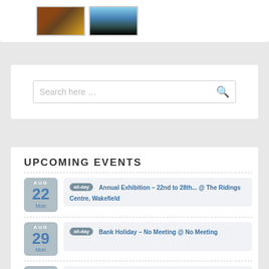[Figure (photo): Two thumbnail photos side by side: first shows a warm-toned landscape/castle scene, second shows a silhouette against water/sky]
Search here …
UPCOMING EVENTS
AUG 22 Mon | all-day Annual Exhibition – 22nd to 28th... @ The Ridings Centre, Wakefield
AUG 29 Mon | all-day Bank Holiday – No Meeting @ No Meeting
SEP 5 | 19:30 Welcome Back!! What Did i Get up... @